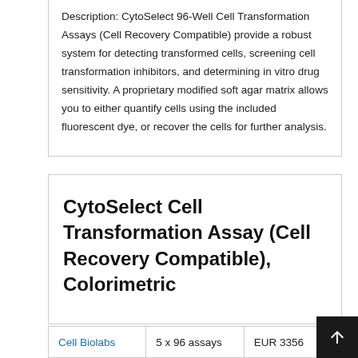Description: CytoSelect 96-Well Cell Transformation Assays (Cell Recovery Compatible) provide a robust system for detecting transformed cells, screening cell transformation inhibitors, and determining in vitro drug sensitivity. A proprietary modified soft agar matrix allows you to either quantify cells using the included fluorescent dye, or recover the cells for further analysis.
CytoSelect Cell Transformation Assay (Cell Recovery Compatible), Colorimetric
| Supplier | Size | Price |
| --- | --- | --- |
| Cell Biolabs | 5 x 96 assays | EUR 3356 |